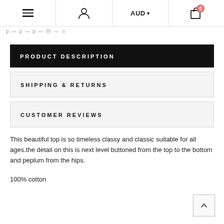Menu | User | AUD | Cart 0
PRODUCT DESCRIPTION
SHIPPING & RETURNS
CUSTOMER REVIEWS
This beautiful top is so timeless classy and classic suitable for all ages.the detail on this is next level buttoned from the top to the bottom and peplum from the hips.
100% cotton